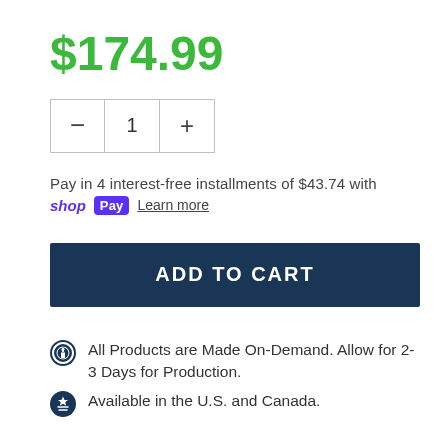$174.99
[Figure (other): Quantity selector with minus button, quantity 1, and plus button]
Pay in 4 interest-free installments of $43.74 with
shop Pay  Learn more
ADD TO CART
All Products are Made On-Demand. Allow for 2-3 Days for Production.
Available in the U.S. and Canada.